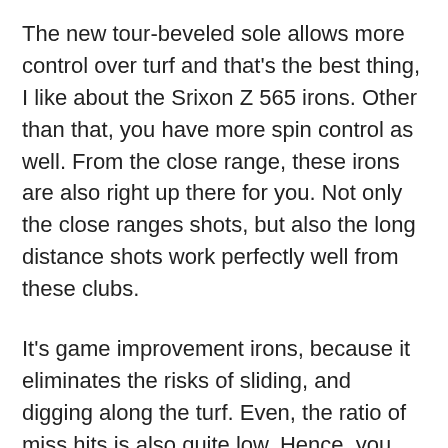The new tour-beveled sole allows more control over turf and that's the best thing, I like about the Srixon Z 565 irons. Other than that, you have more spin control as well. From the close range, these irons are also right up there for you. Not only the close ranges shots, but also the long distance shots work perfectly well from these clubs.
It's game improvement irons, because it eliminates the risks of sliding, and digging along the turf. Even, the ratio of miss hits is also quite low. Hence, you can imagine the quality of this product.
Look:
Well, Srixon Z 565 has a traditional, but a very classy look. Honestly, when you look at it, you have a good feeling, and that's the sign of a great design. The